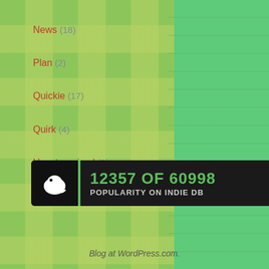News (18)
Plan (2)
Quickie (17)
Quirk (4)
Uncategorized (3)
Update (97)
[Figure (infographic): Indie DB popularity badge showing rank 12357 of 60998 with a white bird-like logo on dark background with green accent bar]
Blog at WordPress.com.